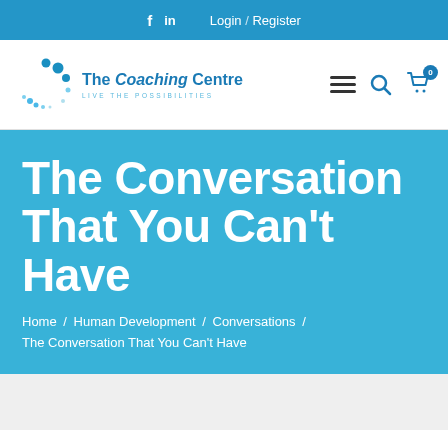f  in  Login / Register
[Figure (logo): The Coaching Centre logo with circular dot arc graphic and tagline LIVE THE POSSIBILITIES]
The Conversation That You Can't Have
Home / Human Development / Conversations / The Conversation That You Can't Have